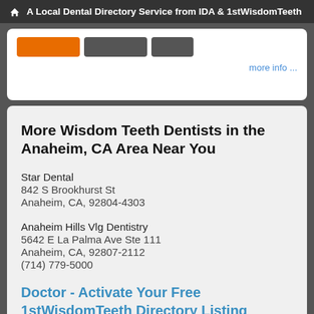A Local Dental Directory Service from IDA & 1stWisdomTeeth
[Figure (screenshot): Partial UI buttons row: orange button, two dark gray buttons, and a 'more info ...' link on the right]
More Wisdom Teeth Dentists in the Anaheim, CA Area Near You
Star Dental
842 S Brookhurst St
Anaheim, CA, 92804-4303
Anaheim Hills Vlg Dentistry
5642 E La Palma Ave Ste 111
Anaheim, CA, 92807-2112
(714) 779-5000
Doctor - Activate Your Free 1stWisdomTeeth Directory Listing